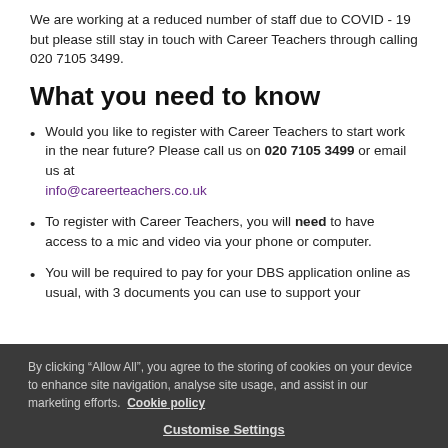We are working at a reduced number of staff due to COVID - 19 but please still stay in touch with Career Teachers through calling 020 7105 3499.
What you need to know
Would you like to register with Career Teachers to start work in the near future? Please call us on 020 7105 3499 or email us at info@careerteachers.co.uk
To register with Career Teachers, you will need to have access to a mic and video via your phone or computer.
You will be required to pay for your DBS application online as usual, with 3 documents you can use to support your
By clicking “Allow All”, you agree to the storing of cookies on your device to enhance site navigation, analyse site usage, and assist in our marketing efforts. Cookie policy
Customise Settings